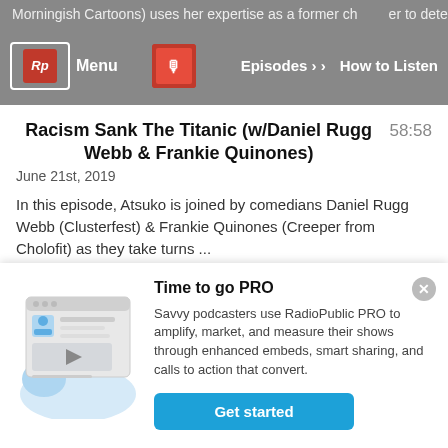Morningish Cartoons) uses her expertise as a former choreographer to determine whether the songs ... Menu | Episodes | How to Listen
Racism Sank The Titanic (w/Daniel Rugg Webb & Frankie Quinones)
58:58
June 21st, 2019
In this episode, Atsuko is joined by comedians Daniel Rugg Webb (Clusterfest) & Frankie Quinones (Creeper from Cholofit) as they take turns ...
Adulting is Hard (w/ Sherry Cola and Ever Mainard)
54:16
Time to go PRO
Savvy podcasters use RadioPublic PRO to amplify, market, and measure their shows through enhanced embeds, smart sharing, and calls to action that convert.
Get started